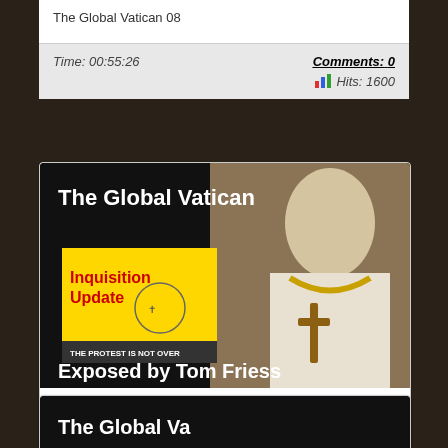The Global Vatican 08
Time: 00:55:26
Comments: 0
Hits: 1600
[Figure (screenshot): Thumbnail image for The Global Vatican video showing Pope Francis and text: The Global Vatican, Inquisition Update, Exposed by Tom Friess]
Tom Friess – The Global Vatican 07
The Global Vatican 07
Time: 00:56:01
Comments: 0
Hits: 1717
[Figure (screenshot): Partial thumbnail image for The Global Vatican video]